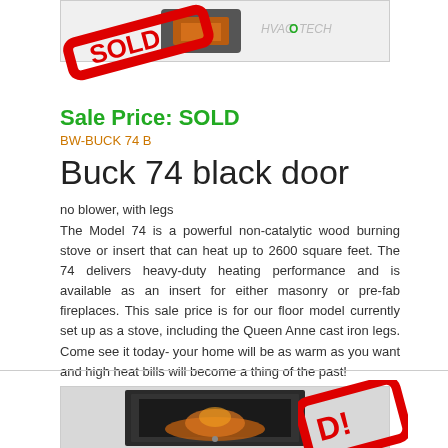[Figure (photo): Product image of Buck 74 black door wood stove with SOLD watermark overlay]
Sale Price: SOLD
BW-BUCK 74 B
Buck 74 black door
no blower, with legs
The Model 74 is a powerful non-catalytic wood burning stove or insert that can heat up to 2600 square feet. The 74 delivers heavy-duty heating performance and is available as an insert for either masonry or pre-fab fireplaces. This sale price is for our floor model currently set up as a stove, including the Queen Anne cast iron legs. Come see it today- your home will be as warm as you want and high heat bills will become a thing of the past!
[Figure (photo): Bottom product image of Buck 74 fireplace insert with SOLD watermark overlay]